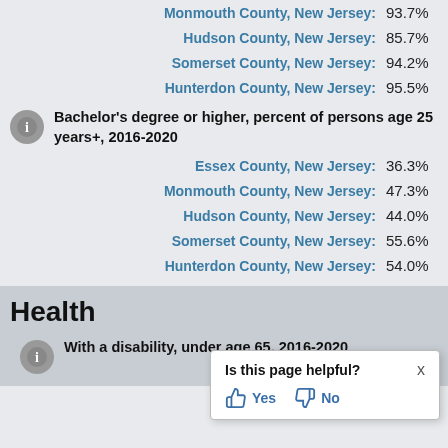Monmouth County, New Jersey: 93.7%
Hudson County, New Jersey: 85.7%
Somerset County, New Jersey: 94.2%
Hunterdon County, New Jersey: 95.5%
Bachelor's degree or higher, percent of persons age 25 years+, 2016-2020
Essex County, New Jersey: 36.3%
Monmouth County, New Jersey: 47.3%
Hudson County, New Jersey: 44.0%
Somerset County, New Jersey: 55.6%
Hunterdon County, New Jersey: 54.0%
Health
With a disability, under age 65, 2016-2020
Is this page helpful? Yes No